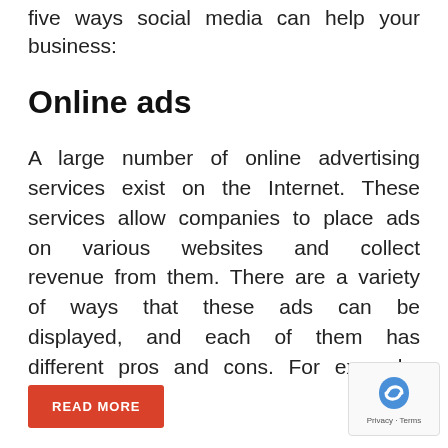five ways social media can help your business:
Online ads
A large number of online advertising services exist on the Internet. These services allow companies to place ads on various websites and collect revenue from them. There are a variety of ways that these ads can be displayed, and each of them has different pros and cons. For example, online ...
READ MORE